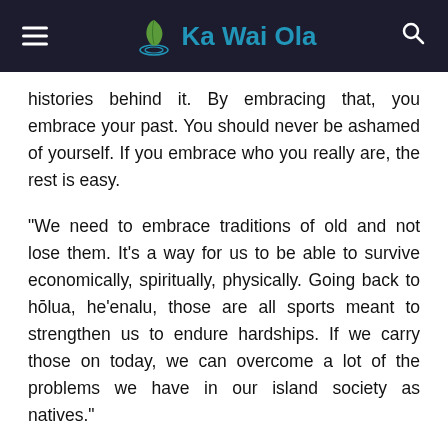Ka Wai Ola
histories behind it. By embracing that, you embrace your past. You should never be ashamed of yourself. If you embrace who you really are, the rest is easy.
“We need to embrace traditions of old and not lose them. It’s a way for us to be able to survive economically, spiritually, physically. Going back to hōlua, heʻenalu, those are all sports meant to strengthen us to endure hardships. If we carry those on today, we can overcome a lot of the problems we have in our island society as natives.”
> On Feb. 3, 2018, Pōhaku will provide the brave of heart the opportunity to experience the thrill of riding a hōlua sled down a rocky slope at the annual Makahiki Kuilima